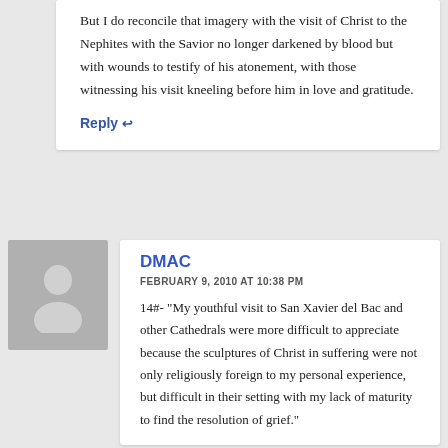But I do reconcile that imagery with the visit of Christ to the Nephites with the Savior no longer darkened by blood but with wounds to testify of his atonement, with those witnessing his visit kneeling before him in love and gratitude.
Reply ↩
[Figure (other): Gray avatar/silhouette placeholder image of a person]
DMAC
FEBRUARY 9, 2010 AT 10:38 PM
14#- "My youthful visit to San Xavier del Bac and other Cathedrals were more difficult to appreciate because the sculptures of Christ in suffering were not only religiously foreign to my personal experience, but difficult in their setting with my lack of maturity to find the resolution of grief."